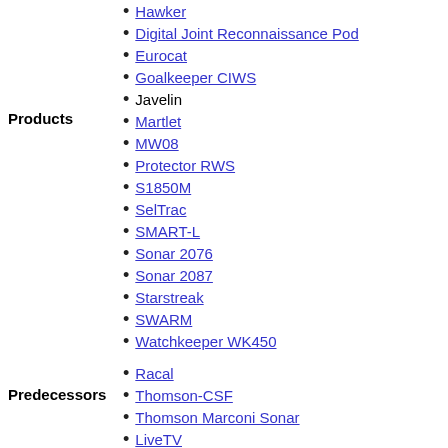Hawker
Digital Joint Reconnaissance Pod
Eurocat
Goalkeeper CIWS
Javelin
Martlet
MW08
Protector RWS
S1850M
SelTrac
SMART-L
Sonar 2076
Sonar 2087
Starstreak
SWARM
Watchkeeper WK450
Racal
Thomson-CSF
Thomson Marconi Sonar
LiveTV
Category
v t e